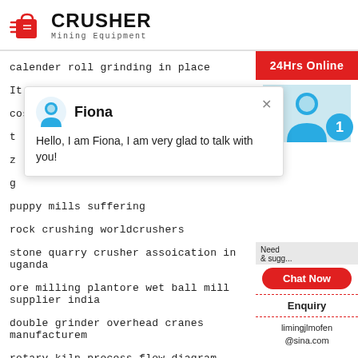[Figure (logo): Crusher Mining Equipment logo with red shopping bag icon and bold CRUSHER text]
calender roll grinding in place
It Yourself Gold Prospecting Equipment
cost of mining gold machine
t
z
g
puppy mills suffering
rock crushing worldcrushers
stone quarry crusher assoication in uganda
ore milling plantore wet ball mill supplier india
double grinder overhead cranes manufacturem
rotary kiln process flow diagram
[Figure (screenshot): Chat popup with Fiona avatar saying Hello, I am Fiona, I am very glad to talk with you!]
[Figure (infographic): Sidebar with 24Hrs Online red header, agent photo, notification badge showing 1, Need & suggestions area, Chat Now red button, Enquiry section, limingjlmofen@sina.com email]